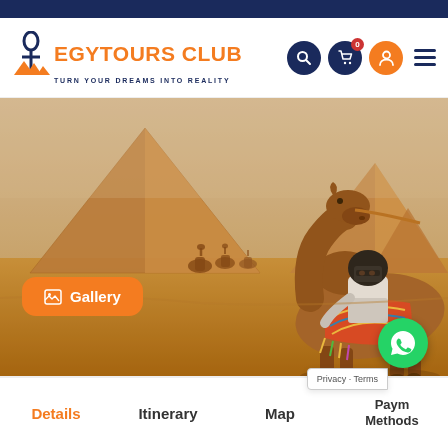EGYPTOURS CLUB — TURN YOUR DREAMS INTO REALITY
[Figure (photo): Hero image of a camel rider in front of the Egyptian pyramids at Giza, with desert landscape and hazy sky. A decorative camel saddle is prominently visible. An orange 'Gallery' button is overlaid on the lower left of the image.]
Gallery
[Figure (logo): WhatsApp green circle FAB button with phone/chat icon]
Privacy · Terms
Details | Itinerary | Map | Payment Methods